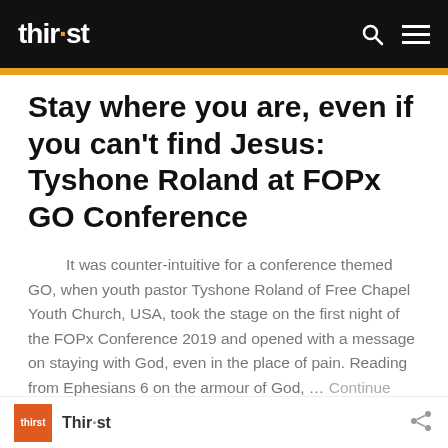thirst
Stay where you are, even if you can't find Jesus: Tyshone Roland at FOPx GO Conference
It was counter-intuitive for a conference themed GO, when youth pastor Tyshone Roland of Free Chapel Youth Church, USA, took the stage on the first night of the FOPx Conference 2019 and opened with a message on staying with God, even in the place of pain. Reading from Ephesians 6 on the armour of God, … Continue reading
Thirst